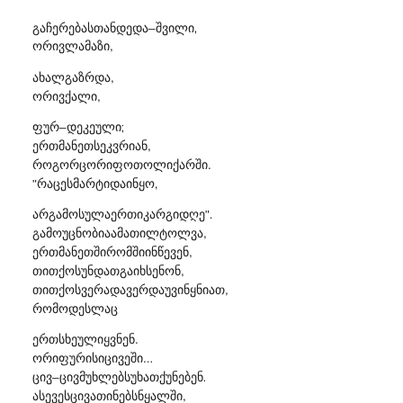გაჩერებასთანდედა–შვილი, ორივლამაზი,
ახალგაზრდა, ორივქალი,
ფურ–დეკეული; ერთმანეთსეკვრიან, როგორცორიფოთოლიქარში. "რაცესმარტიდაინყო,
არგამოსულაერთიკარგიდღე". გამოუცნობიაამათილტოლვა, ერთმანეთშირომშიინწევენ, თითქოსუნდათგაიხსენონ, თითქოსვერადავერდაუვინყნიათ, რომოდესლაც
ერთსხეულიყვნენ. ორიფური სიცივეში... ცივ–ცივმუხლებსუხათქუნებენ. ასევესცივათინებს ნყალში, ასესცივათნისქვილისბოდები,